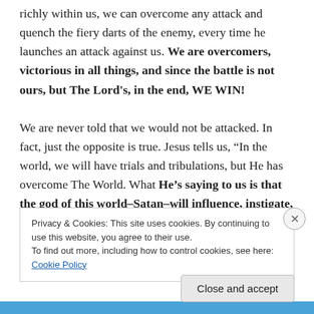richly within us, we can overcome any attack and quench the fiery darts of the enemy, every time he launches an attack against us. We are overcomers, victorious in all things, and since the battle is not ours, but The Lord's, in the end, WE WIN!

We are never told that we would not be attacked. In fact, just the opposite is true. Jesus tells us, “In the world, we will have trials and tribulations, but He has overcome The World. What He’s saying to us is that the god of this world–Satan–will influence, instigate, and ignite
Privacy & Cookies: This site uses cookies. By continuing to use this website, you agree to their use.
To find out more, including how to control cookies, see here: Cookie Policy
Close and accept